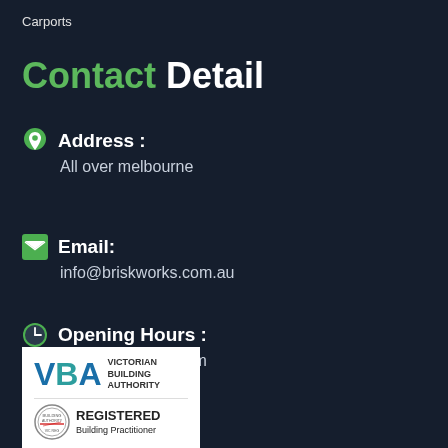Carports
Contact Detail
Address : All over melbourne
Email: info@briskworks.com.au
Opening Hours : 10:00am to 06:00pm
[Figure (logo): Victorian Building Authority logo with Registered Building Practitioner badge]